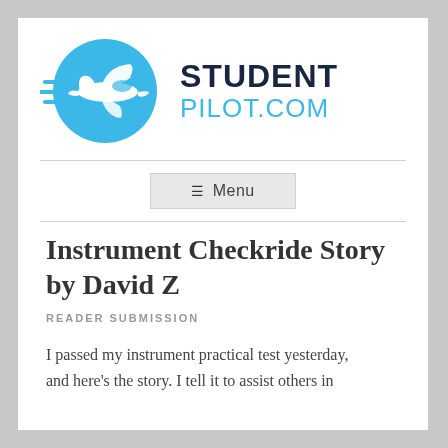[Figure (logo): StudentPilot.com logo with airplane inside a blue circle and speed lines, with 'STUDENT' in dark navy bold text and 'PILOT.COM' in cyan/blue text to the right]
≡  Menu
Instrument Checkride Story by David Z
READER SUBMISSION
I passed my instrument practical test yesterday, and here's the story. I tell it to assist others in